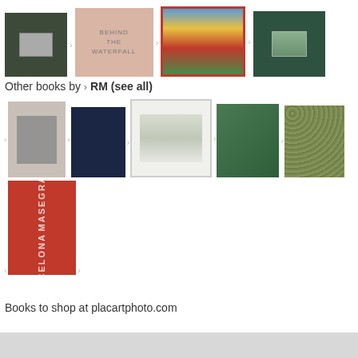[Figure (illustration): Row of four book covers: dark green cover with small landscape photo, pink cover with text 'BEHIND THE WATERFALL', red-bordered cover with colorful industrial building photo, dark green cover with small landscape photo]
Other books by > RM (see all)
[Figure (illustration): Two rows of book covers by publisher RM: black-and-white photo cover of person, navy blue cover, white-framed cover with road/landscape, green modernist building cover, floral pattern cover, and red vertical-text cover (Masegra/Barcelona)]
Books to shop at placartphoto.com